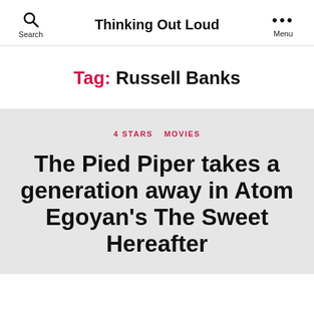Search    Thinking Out Loud    Menu
Tag: Russell Banks
4 STARS   MOVIES
The Pied Piper takes a generation away in Atom Egoyan's The Sweet Hereafter